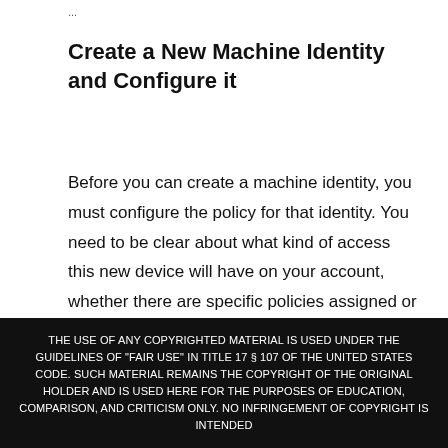...
Create a New Machine Identity and Configure it
Before you can create a machine identity, you must configure the policy for that identity. You need to be clear about what kind of access this new device will have on your account, whether there are specific policies assigned or roles needed to give it these permissions.
THE USE OF ANY COPYRIGHTED MATERIAL IS USED UNDER THE GUIDELINES OF "FAIR USE" IN TITLE 17 § 107 OF THE UNITED STATES CODE. SUCH MATERIAL REMAINS THE COPYRIGHT OF THE ORIGINAL HOLDER AND IS USED HERE FOR THE PURPOSES OF EDUCATION, COMPARISON, AND CRITICISM ONLY. NO INFRINGEMENT OF COPYRIGHT IS INTENDED